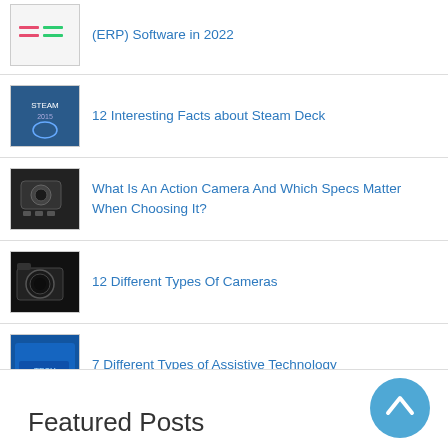(ERP) Software in 2022
12 Interesting Facts about Steam Deck
What Is An Action Camera And Which Specs Matter When Choosing It?
12 Different Types Of Cameras
7 Different Types of Assistive Technology
5 Best Launcher Apps for Android
Featured Posts